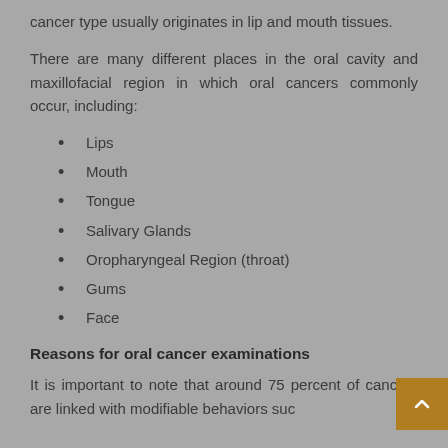cancer type usually originates in lip and mouth tissues.
There are many different places in the oral cavity and maxillofacial region in which oral cancers commonly occur, including:
Lips
Mouth
Tongue
Salivary Glands
Oropharyngeal Region (throat)
Gums
Face
Reasons for oral cancer examinations
It is important to note that around 75 percent of cancers are linked with modifiable behaviors suc